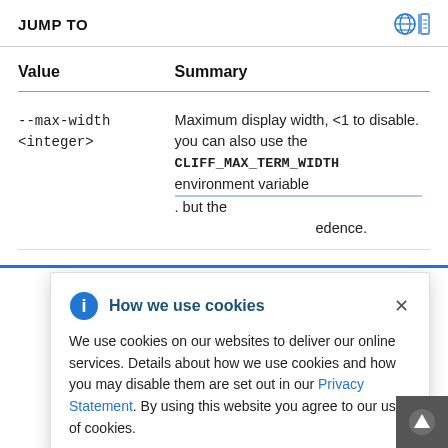JUMP TO
| Value | Summary |
| --- | --- |
| --max-width <integer> | Maximum display width, <1 to disable. you can also use the CLIFF_MAX_TERM_WIDTH environment variable. but the ... edence. |
|  | ... play - width ... e ... environment variable CLIFF_FIT_WIDTH=1 to always |
[Figure (infographic): Cookie consent popup overlay with info icon, title 'How we use cookies', close X button, body text about cookie usage, Privacy Statement link, and agree statement.]